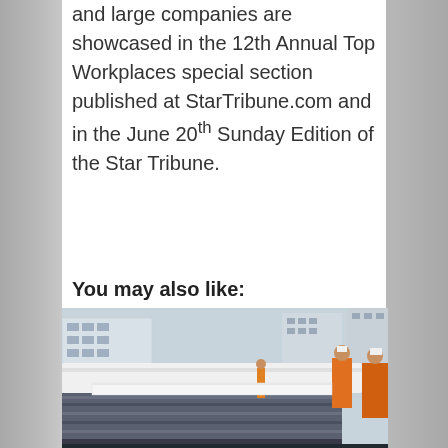and large companies are showcased in the 12th Annual Top Workplaces special section published at StarTribune.com and in the June 20th Sunday Edition of the Star Tribune.
You may also like:
[Figure (photo): Workers in safety vests and hard hats examining materials in an urban construction or transit area with large modern buildings in the background.]